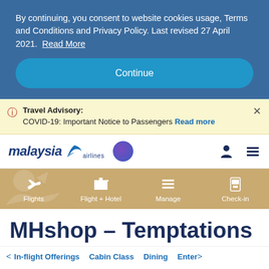By continuing, you consent to website cookies usage, Terms and Conditions and Privacy Policy. Last revised 27 April 2021. Read More
Continue
Travel Advisory: COVID-19: Important Notice to Passengers Read more
[Figure (logo): Malaysia Airlines logo with stylized 'malaysia' text in italic and blue tail wing icon, plus Enrich purple circle logo]
[Figure (infographic): Navigation menu bar with tan/gold background showing four items: Flights, Flight + Hotel, Manage, Check-in with icons]
MHshop – Temptations
In-flight Offerings   Cabin Class   Dining   Enter>